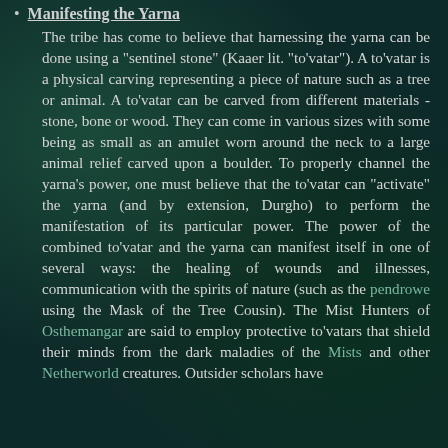Manifesting the Yarna
The tribe has come to believe that harnessing the yarna can be done using a "sentinel stone" (Kaaer lit. "to'vatar"). A to'vatar is a physical carving representing a piece of nature such as a tree or animal. A to'vatar can be carved from different materials - stone, bone or wood. They can come in various sizes with some being as small as an amulet worn around the neck to a large animal relief carved upon a boulder. To properly channel the yarna's power, one must believe that the to'vatar can "activate" the yarna (and by extension, Durgho) to perform the manifestation of its particular power. The power of the combined to'vatar and the yarna can manifest itself in one of several ways: the healing of wounds and illnesses, communication with the spirits of nature (such as the pendrowe using the Mask of the Tree Cousin). The Mist Hunters of Osthemangar are said to employ protective to'vatars that shield their minds from the dark maladies of the Mists and other Netherworld creatures. Outsider scholars have